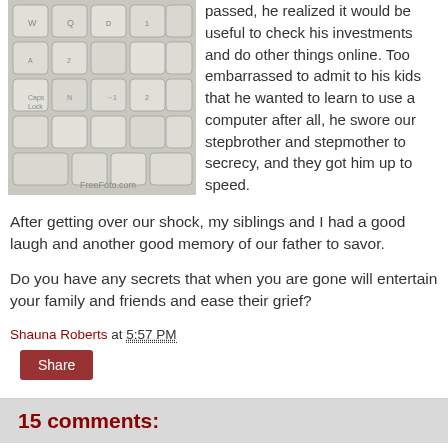[Figure (photo): Close-up photo of white/grey computer keyboard keys, with 'FreeFoto.com' watermark in lower right corner]
passed, he realized it would be useful to check his investments and do other things online. Too embarrassed to admit to his kids that he wanted to learn to use a computer after all, he swore our stepbrother and stepmother to secrecy, and they got him up to speed.
After getting over our shock, my siblings and I had a good laugh and another good memory of our father to savor.
Do you have any secrets that when you are gone will entertain your family and friends and ease their grief?
Shauna Roberts at 5:57 PM
Share
15 comments: